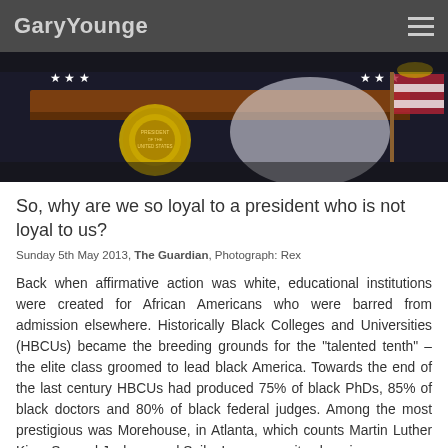GaryYounge
[Figure (photo): Photograph of a presidential podium with the Presidential Seal visible, American flags in the background, dark atmospheric setting.]
So, why are we so loyal to a president who is not loyal to us?
Sunday 5th May 2013, The Guardian, Photograph: Rex
Back when affirmative action was white, educational institutions were created for African Americans who were barred from admission elsewhere. Historically Black Colleges and Universities (HBCUs) became the breeding grounds for the "talented tenth" – the elite class groomed to lead black America. Towards the end of the last century HBCUs had produced 75% of black PhDs, 85% of black doctors and 80% of black federal judges. Among the most prestigious was Morehouse, in Atlanta, which counts Martin Luther King, Samuel Jackson and Spike Lee among its alumni.
read full article
share